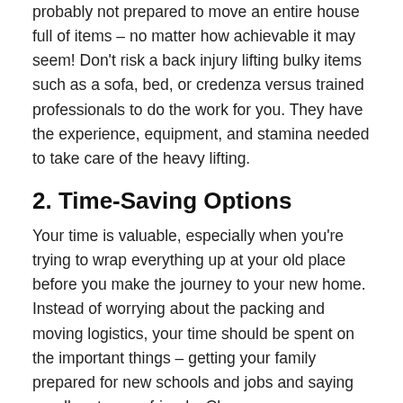probably not prepared to move an entire house full of items – no matter how achievable it may seem! Don't risk a back injury lifting bulky items such as a sofa, bed, or credenza versus trained professionals to do the work for you. They have the experience, equipment, and stamina needed to take care of the heavy lifting.
2. Time-Saving Options
Your time is valuable, especially when you're trying to wrap everything up at your old place before you make the journey to your new home. Instead of worrying about the packing and moving logistics, your time should be spent on the important things – getting your family prepared for new schools and jobs and saying goodbye to your friends. Choose a